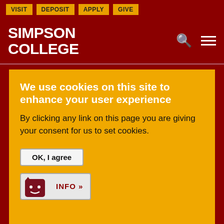VISIT | DEPOSIT | APPLY | GIVE
SIMPSON COLLEGE
We use cookies on this site to enhance your user experience
By clicking any link on this page you are giving your consent for us to set cookies.
OK, I agree
INFO »